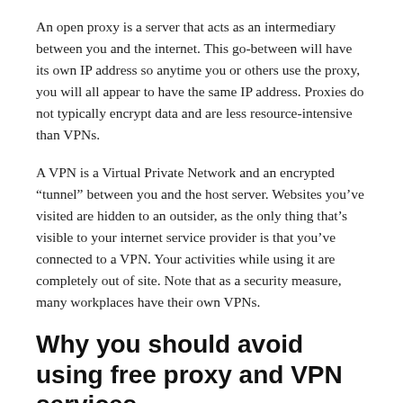An open proxy is a server that acts as an intermediary between you and the internet. This go-between will have its own IP address so anytime you or others use the proxy, you will all appear to have the same IP address. Proxies do not typically encrypt data and are less resource-intensive than VPNs.
A VPN is a Virtual Private Network and an encrypted “tunnel” between you and the host server. Websites you’ve visited are hidden to an outsider, as the only thing that’s visible to your internet service provider is that you’ve connected to a VPN. Your activities while using it are completely out of site. Note that as a security measure, many workplaces have their own VPNs.
Why you should avoid using free proxy and VPN services
At best, free proxy services are often run by unscrupulous people who will mine your personal data and will start